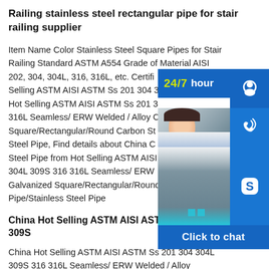Railing stainless steel rectangular pipe for stair railing supplier
Item Name Color Stainless Steel Square Pipes for Stair Railing Standard ASTM A554 Grade of Material AISI 202, 304, 304L, 316, 316L, etc. Certified Selling ASTM AISI ASTM Ss 201 304 Hot Selling ASTM AISI ASTM Ss 201 316L Seamless/ ERW Welded / Alloy Square/Rectangular/Round Carbon Steel Pipe, Find details about China Carbon Steel Pipe from Hot Selling ASTM AISI 304L 309S 316 316L Seamless/ ERW Galvanized Square/Rectangular/Round Carbon Steel Pipe/Stainless Steel Pipe
[Figure (infographic): 24/7 hour customer support chat widget with headset icon, phone icon, Skype icon, photo of customer service representative, and 'Click to chat' button]
China Hot Selling ASTM AISI ASTM Ss 201 304 304L 309S
China Hot Selling ASTM AISI ASTM Ss 201 304 304L 309S 316 316L Seamless/ ERW Welded / Alloy